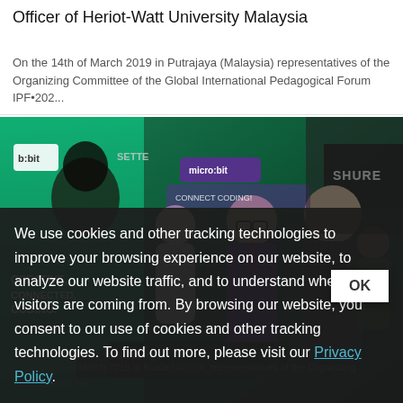Officer of Heriot-Watt University Malaysia
On the 14th of March 2019 in Putrajaya (Malaysia) representatives of the Organizing Committee of the Global International Pedagogical Forum IPF•202...
[Figure (photo): A group of people at a trade show booth with micro:bit branding. Displays show 'CREATIVE, CONNECTED, CODING' messaging. A man in purple shirt and another in dark blazer stand in the foreground smiling. SHURE branded booth visible in background.]
Meeting at Micro:bit, Kuala Lumpur
On the 12th of March 2019 in Kuala Lumpur, representatives of the Organizing Committee of the
We use cookies and other tracking technologies to improve your browsing experience on our website, to analyze our website traffic, and to understand where our visitors are coming from. By browsing our website, you consent to our use of cookies and other tracking technologies. To find out more, please visit our Privacy Policy.